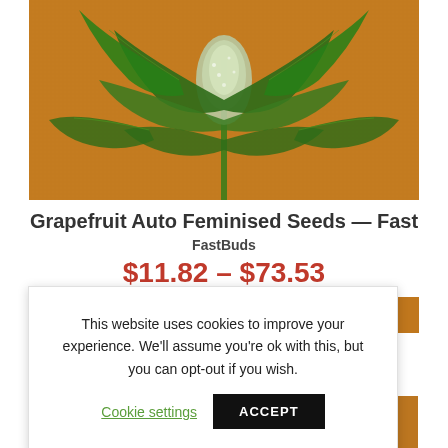[Figure (photo): Cannabis plant with green leaves and buds against an orange/brown burlap background]
Grapefruit Auto Feminised Seeds — Fast
FastBuds
$11.82 – $73.53
[Figure (photo): Partial view of another cannabis product listing below, orange/brown background]
This website uses cookies to improve your experience. We'll assume you're ok with this, but you can opt-out if you wish.
Cookie settings   ACCEPT
[Figure (photo): Bottom partial cannabis plant photo with orange background]